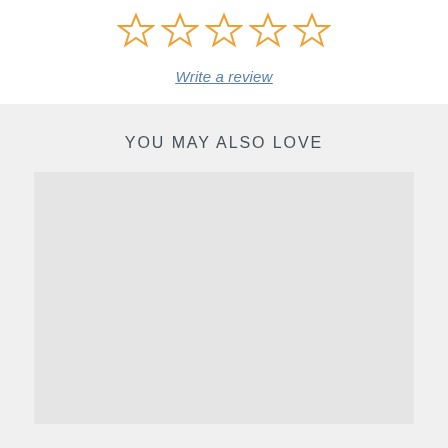[Figure (other): Five empty star rating icons arranged in a row, outlined in orange/gold color on white background]
Write a review
YOU MAY ALSO LOVE
[Figure (other): Large light gray rectangular placeholder image area on gray background]